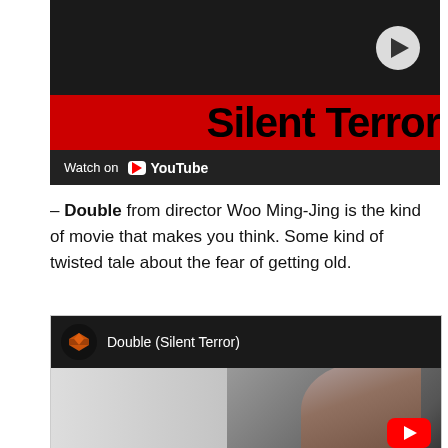[Figure (screenshot): YouTube video thumbnail for 'Silent Terror' with red banner showing title text, play button, and Watch on YouTube bar]
– Double from director Woo Ming-Jing is the kind of movie that makes you think. Some kind of twisted tale about the fear of getting old.
[Figure (screenshot): YouTube video thumbnail for 'Double (Silent Terror)' showing channel icon, title, and a woman's face with red YouTube play button]